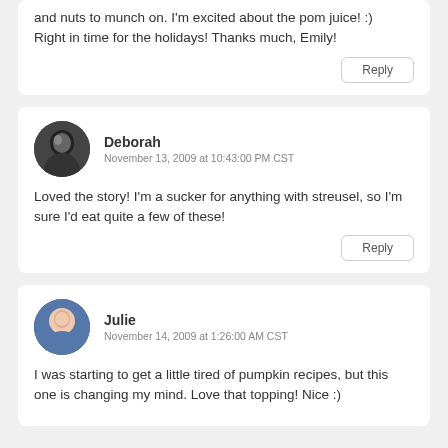and nuts to munch on. I'm excited about the pom juice! :) Right in time for the holidays! Thanks much, Emily!
Reply
Deborah
November 13, 2009 at 10:43:00 PM CST
Loved the story! I'm a sucker for anything with streusel, so I'm sure I'd eat quite a few of these!
Reply
Julie
November 14, 2009 at 1:26:00 AM CST
I was starting to get a little tired of pumpkin recipes, but this one is changing my mind. Love that topping! Nice :)